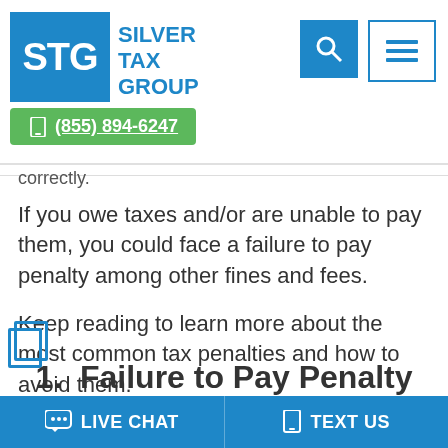STG Silver Tax Group (855) 894-6247
correctly.
If you owe taxes and/or are unable to pay them, you could face a failure to pay penalty among other fines and fees.
Keep reading to learn more about the most common tax penalties and how to avoid them.
1. Failure to Pay Penalty
LIVE CHAT   TEXT US